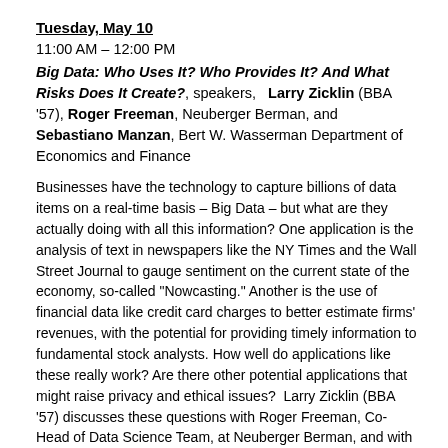Tuesday, May 10
11:00 AM – 12:00 PM
Big Data: Who Uses It? Who Provides It? And What Risks Does It Create?, speakers,   Larry Zicklin (BBA '57), Roger Freeman, Neuberger Berman, and Sebastiano Manzan, Bert W. Wasserman Department of Economics and Finance
Businesses have the technology to capture billions of data items on a real-time basis – Big Data – but what are they actually doing with all this information? One application is the analysis of text in newspapers like the NY Times and the Wall Street Journal to gauge sentiment on the current state of the economy, so-called "Nowcasting." Another is the use of financial data like credit card charges to better estimate firms' revenues, with the potential for providing timely information to fundamental stock analysts. How well do applications like these really work? Are there other potential applications that might raise privacy and ethical issues?  Larry Zicklin (BBA '57) discusses these questions with Roger Freeman, Co-Head of Data Science Team, at Neuberger Berman, and with Sebastiano Manzan, Associate Professor of Economics in the